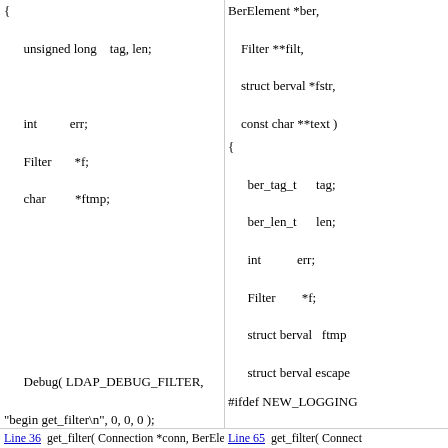BerElement *ber,
    Filter **filt,
    struct berval *fstr,
    const char **text )
{
    unsigned long   tag, len;

    int         err;
    Filter      *f;
    char        *ftmp;
Debug( LDAP_DEBUG_FILTER,
"begin get_filter\n", 0, 0, 0 );

    /*
     * A filter looks like this coming in:
     *    Filter ::= CHOICE {
{
    ber_tag_t   tag;
    ber_len_t   len;
    int         err;
    Filter      *f;
    struct berval   ftmp
    struct berval escape
#ifdef NEW_LOGGING
        LDAP_LOG(( "filt
LDAP_LEVEL_ENTRY
%d\n",
                conn->c_co
#else
        Debug( LDAP_DE
"begin get_filter\n", 0, 0
#endif
    /*
     * A filter looks lik
     *    Filter ::= CHO
Line 36  get_filter( Connection *conn, BerElement  Line 65  get_filter( Connect
*        lessOrEqual   [5]